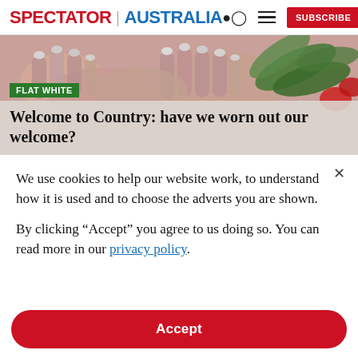SPECTATOR | AUSTRALIA
[Figure (photo): Close-up photograph of hands with grey/silver painted nails holding green eucalyptus leaves, with red flowers visible, representing an Indigenous Welcome to Country ceremony.]
FLAT WHITE
Welcome to Country: have we worn out our welcome?
We use cookies to help our website work, to understand how it is used and to choose the adverts you are shown.
By clicking "Accept" you agree to us doing so. You can read more in our privacy policy.